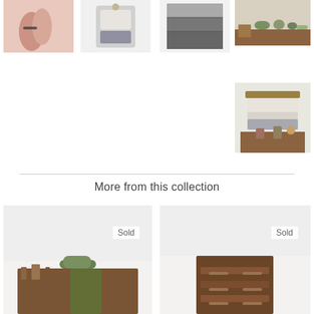[Figure (photo): Close-up of hand with ring on white background]
[Figure (photo): Gray and white woven textile item on white background]
[Figure (photo): Dark gray textured woven wall hanging]
[Figure (photo): Wooden shelf with decorative items and planters]
[Figure (photo): Large woven wall hanging with driftwood hanger, shown with plants and pots]
More from this collection
[Figure (photo): Mid-century dresser with giraffe figurines and plants, Sold]
[Figure (photo): Tall walnut chest of drawers, Sold]